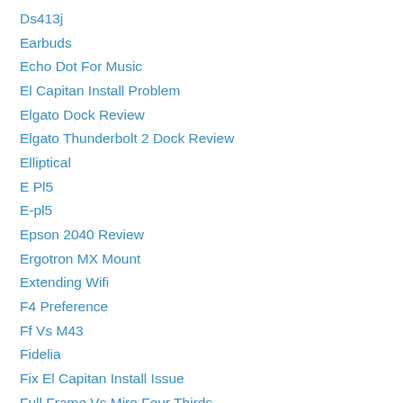Ds413j
Earbuds
Echo Dot For Music
El Capitan Install Problem
Elgato Dock Review
Elgato Thunderbolt 2 Dock Review
Elliptical
E Pl5
E-pl5
Epson 2040 Review
Ergotron MX Mount
Extending Wifi
F4 Preference
Ff Vs M43
Fidelia
Fix El Capitan Install Issue
Full Frame Vs Miro Four Thirds
Gadget Backpack
Gaming Projector
George Foreman Grill